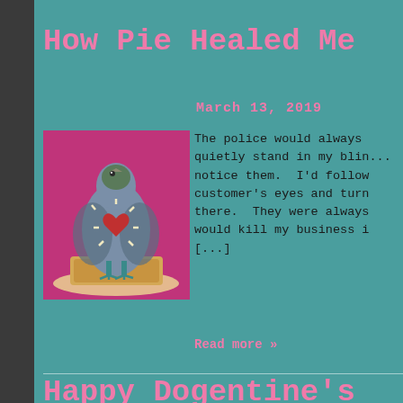How Pie Healed Me
March 13, 2019
[Figure (photo): Illustration of a pigeon/bird standing on a piece of toast on a plate, against a pink/magenta background. The bird has a heart symbol on its chest with radiating lines.]
The police would always quietly stand in my blin... notice them. I'd follow customer's eyes and turn there. They were always would kill my business i [...]
Read more »
Happy Dogentine's Day